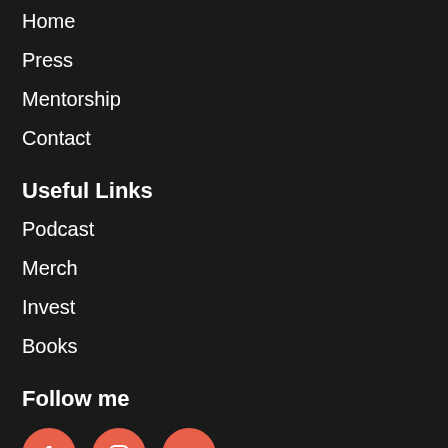Home
Press
Mentorship
Contact
Useful Links
Podcast
Merch
Invest
Books
Follow me
[Figure (other): Three social media icons: Facebook, Instagram, YouTube, each in a salmon/coral colored circle]